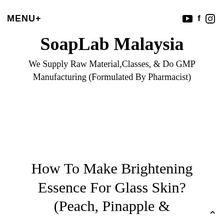MENU+
SoapLab Malaysia
We Supply Raw Material,Classes, & Do GMP Manufacturing (Formulated By Pharmacist)
How To Make Brightening Essence For Glass Skin? (Peach, Pinapple &